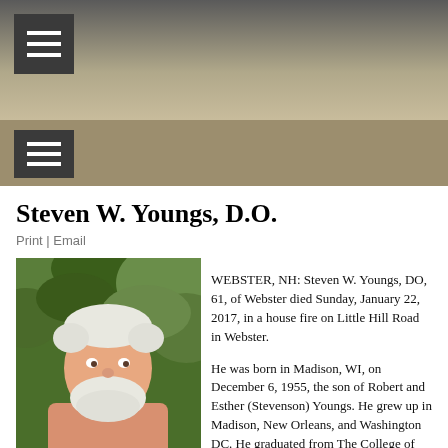[Figure (photo): Website header with dark gray top gradient fading to tan/beige, hamburger menu icon top-left]
[Figure (screenshot): Navigation bar in tan/brown with hamburger menu icon on left]
Steven W. Youngs, D.O.
Print | Email
[Figure (photo): Photo of an older white-haired/bearded man in a pink shirt, smiling, with green foliage background]
WEBSTER, NH:  Steven W. Youngs, DO, 61, of Webster died Sunday, January 22, 2017, in a house fire on Little Hill Road in Webster.

He was born in Madison, WI, on December 6, 1955, the son of Robert and Esther (Stevenson) Youngs. He grew up in Madison, New Orleans, and Washington DC. He graduated from The College of William and Mary with a bachelor's degree in Geology in 1978. He then went on to receive a master's degree in Structural Geology from